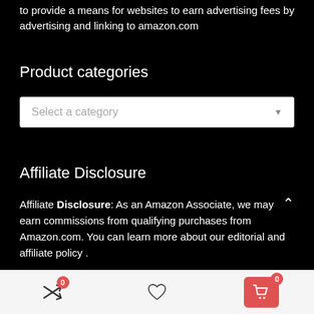to provide a means for websites to earn advertising fees by advertising and linking to amazon.com
Product categories
[Figure (screenshot): Dropdown selector with placeholder text 'Select a category' and a downward arrow on the right]
Affiliate Disclosure
Affiliate Disclosure: As an Amazon Associate, we may earn commissions from qualifying purchases from Amazon.com. You can learn more about our editorial and affiliate policy .
[Figure (screenshot): Bottom navigation bar with shuffle/compare icon with badge 0, heart/wishlist icon, and red cart button with badge 0]